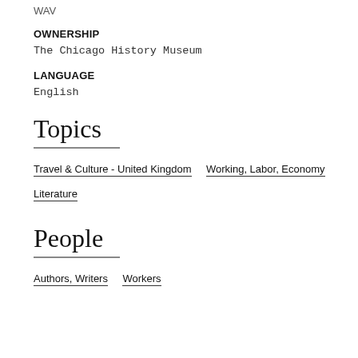WAV
OWNERSHIP
The Chicago History Museum
LANGUAGE
English
Topics
Travel & Culture - United Kingdom
Working, Labor, Economy
Literature
People
Authors, Writers
Workers